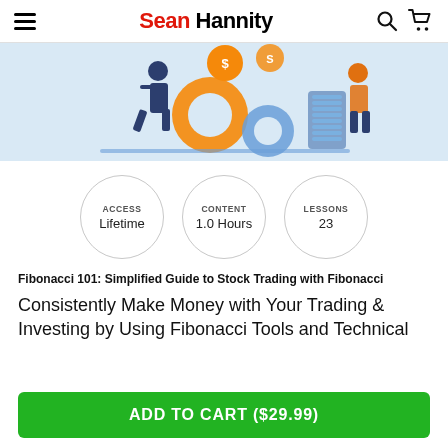Sean Hannity
[Figure (illustration): Illustration of business figures with gears and coins on a light blue background]
ACCESS
Lifetime
CONTENT
1.0 Hours
LESSONS
23
Fibonacci 101: Simplified Guide to Stock Trading with Fibonacci
Consistently Make Money with Your Trading & Investing by Using Fibonacci Tools and Technical
ADD TO CART ($29.99)